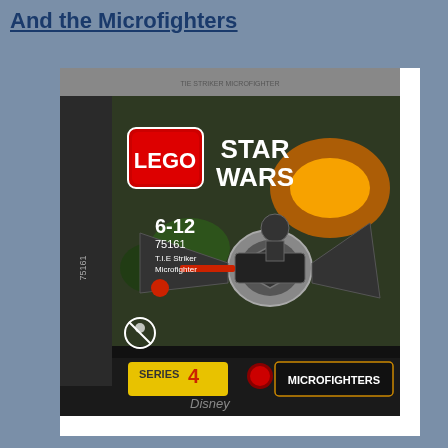And the Microfighters
[Figure (photo): LEGO Star Wars TIE Striker Microfighter set box (set number 75161), Series 4, age range 6-12, showing a black TIE Striker microfighter model with a pilot minifigure, LEGO and Star Wars logos, MICROFIGHTERS branding, and Disney logo on the box.]